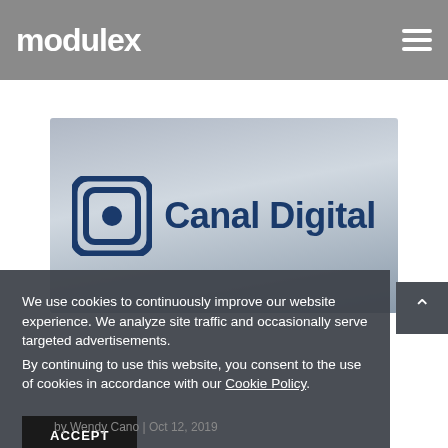modulex
[Figure (logo): Canal Digital logo — square icon with nested rounded rectangles and a dot, next to bold blue text 'Canal Digital', on a grey gradient background]
We use cookies to continuously improve our website experience. We analyze site traffic and occasionally serve targeted advertisements.
By continuing to use this website, you consent to the use of cookies in accordance with our Cookie Policy.
ACCEPT
by Wendy Cano | Oct 12, 2019